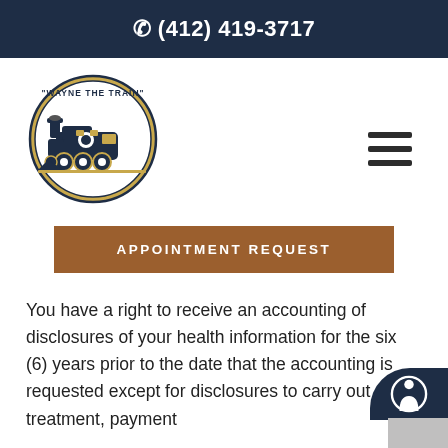☎ (412) 419-3717
[Figure (logo): Wayne The Train circular logo featuring a vintage steam locomotive illustration in navy blue and gold tones]
APPOINTMENT REQUEST
You have a right to receive an accounting of disclosures of your health information for the six (6) years prior to the date that the accounting is requested except for disclosures to carry out treatment, payment